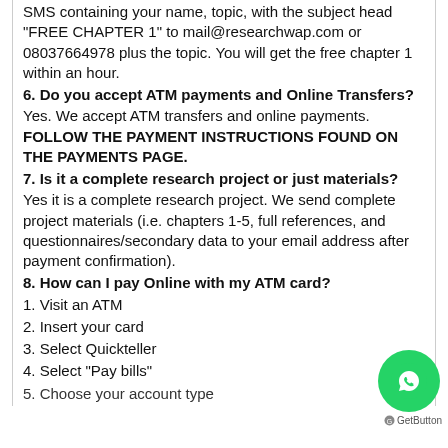SMS containing your name, topic, with the subject head "FREE CHAPTER 1" to mail@researchwap.com or 08037664978 plus the topic. You will get the free chapter 1 within an hour.
6. Do you accept ATM payments and Online Transfers?
Yes. We accept ATM transfers and online payments. FOLLOW THE PAYMENT INSTRUCTIONS FOUND ON THE PAYMENTS PAGE.
7. Is it a complete research project or just materials?
Yes it is a complete research project. We send complete project materials (i.e. chapters 1-5, full references, and questionnaires/secondary data to your email address after payment confirmation).
8. How can I pay Online with my ATM card?
1. Visit an ATM
2. Insert your card
3. Select Quickteller
4. Select "Pay bills"
5. Choose your account type